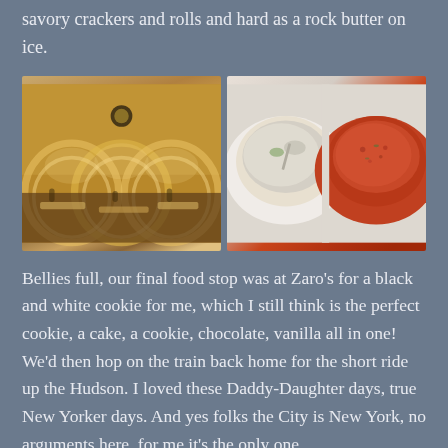savory crackers and rolls and hard as a rock butter on ice.
[Figure (photo): Two side-by-side photos: left shows a grand restaurant interior with arched brick/tile vaulted ceilings, chandeliers, and diners at tables; right shows two bowls of soup — a white cream soup with a spoon and a red/tomato soup.]
Bellies full, our final food stop was at Zaro's for a black and white cookie for me, which I still think is the perfect cookie, a cake, a cookie, chocolate, vanilla all in one! We'd then hop on the train back home for the short ride up the Hudson. I loved these Daddy-Daughter days, true New Yorker days. And yes folks the City is New York, no arguments here, for me it's the only one